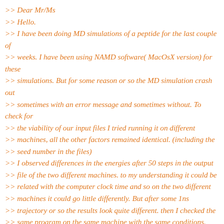>> Dear Mr/Ms
>> Hello.
>> I have been doing MD simulations of a peptide for the last couple of
>> weeks. I have been using NAMD software( MacOsX version) for these
>> simulations. But for some reason or so the MD simulation crash out
>> sometimes with an error message and sometimes without. To check for
>> the viability of our input files I tried running it on different
>> machines, all the other factors remained identical. (including the
>> seed number in the files)
>> I observed differences in the energies after 50 steps in the output
>> file of the two different machines. to my understanding it could be
>> related with the computer clock time and so on the two different
>> machines it could go little differently. But after some 1ns
>> trajectory or so the results look quite different. then I checked the
>> same program on the same machine with the same conditions. But to my